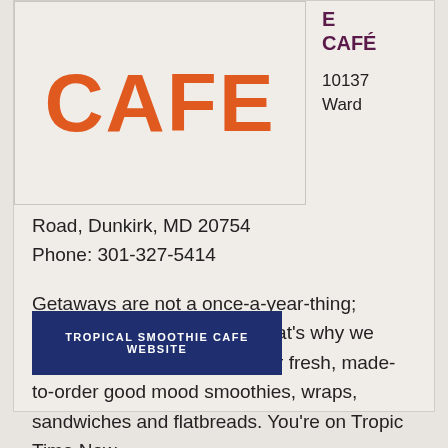[Figure (logo): Tropical Smoothie Cafe logo showing the word CAFE in large orange bold letters]
E
CAFÉ

10137 Ward Road, Dunkirk, MD 20754
Phone: 301-327-5414
Getaways are not a once-a-year-thing; they're an everyday thing. That's why we blend a little sunshine into our fresh, made-to-order good mood smoothies, wraps, sandwiches and flatbreads. You're on Tropic Time Now.
TROPICAL SMOOTHIE CAFE WEBSITE